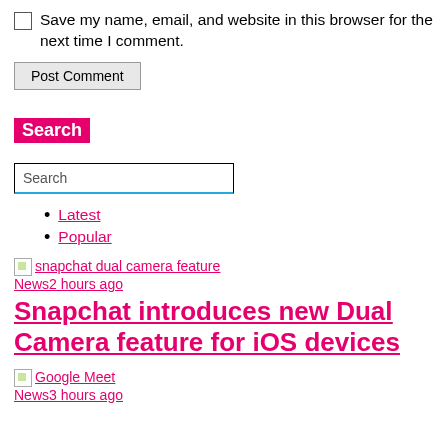Save my name, email, and website in this browser for the next time I comment.
Post Comment
Search
Search
Latest
Popular
snapchat dual camera feature News2 hours ago
Snapchat introduces new Dual Camera feature for iOS devices
Google Meet News3 hours ago